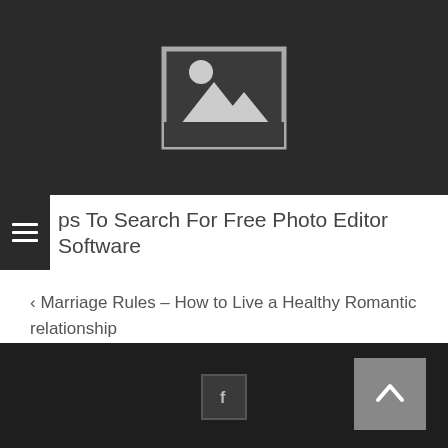[Figure (illustration): Dark background image placeholder with mountain/landscape icon in a bordered box]
ps To Search For Free Photo Editor Software
‹ Marriage Rules – How to Live a Healthy Romantic relationship
Building Trust in a Relationship – Keys to Building Rely upon a Romantic relationship ›
Facebook icon and scroll-to-top button